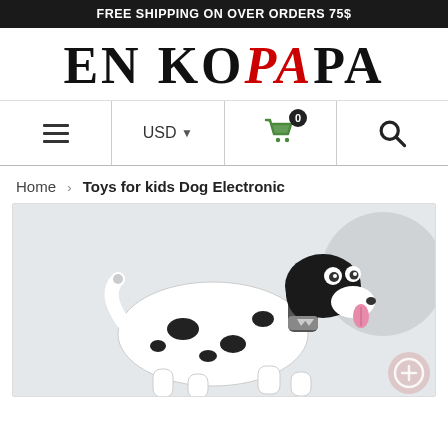FREE SHIPPING ON OVER ORDERS 75$
[Figure (logo): EN KOPAPA logo in serif font, with 'PA' letters in red italic]
[Figure (infographic): Navigation bar with hamburger menu, USD currency selector with dropdown arrow, shopping cart icon with 0 badge, and search icon]
Home › Toys for kids Dog Electronic
[Figure (photo): Electronic robot dog toy with dalmatian black and white pattern, black head with googly eyes, pink tongue, posing on light grey background]